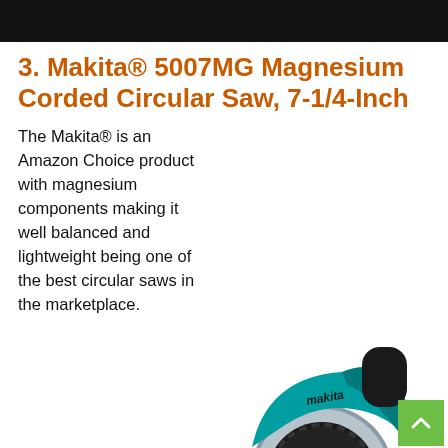3. Makita® 5007MG Magnesium Corded Circular Saw, 7-1/4-Inch
The Makita® is an Amazon Choice product with magnesium components making it well balanced and lightweight being one of the best circular saws in the marketplace.
[Figure (photo): Makita 5007MG circular saw in teal/silver colorway with 7-1/4 inch blade visible, shown from a side angle.]
For performance, it operates at 5800 RPM with its 15-Amp motor. It also comes with an electric brake to...